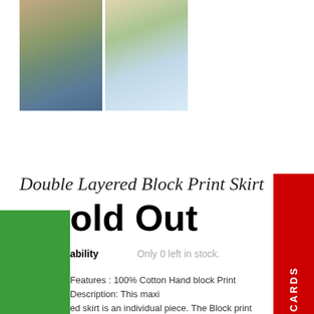[Figure (photo): Two product photos of a double layered block print skirt worn by a model, side by side]
Double Layered Block Print Skirt
Sold Out
Availability   Only 0 left in stock.
Features : 100% Cotton Hand block Print Description: This maxi layered skirt is an individual piece. The Block print goes hand in hand the Indigo Cycle print.  The skirt is light...
d More About Block Print
nating in Rajasthan, Block printing is a technique that begins with the artisan carving wooden blocks to a desired motif or